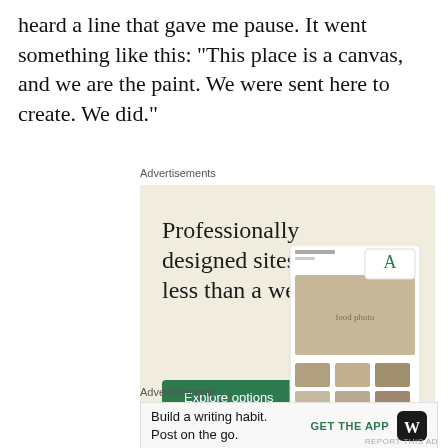heard a line that gave me pause. It went something like this: “This place is a canvas, and we are the paint. We were sent here to create. We did.”
Advertisements
[Figure (screenshot): WordPress advertisement: 'Professionally designed sites in less than a week' with an 'Explore options' green button, WordPress logo, Squarespace logo, and website mockup images on a beige background.]
Advertisements
[Figure (screenshot): WordPress mobile ad: 'Build a writing habit. Post on the go.' with 'GET THE APP' call to action and WordPress logo on light grey background.]